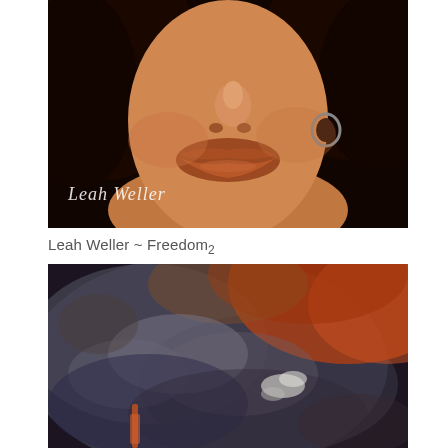[Figure (photo): Close-up portrait of a woman with dark hair, wearing a hoop earring, with warm amber/terracotta lip color. The lower portion of her face is shown. Text overlay in cursive reads 'Leah Weller' in white in the lower left.]
Leah Weller ~ Freedom2
[Figure (photo): Abstract or atmospheric image with dark gray, rusty red-orange, and muted blue tones, resembling smoke, clouds, or a moody painted background. A hint of orange/reddish vertical element is visible near the bottom left.]